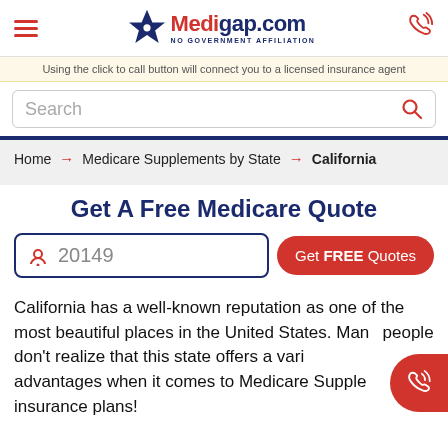Medigap.com — NO GOVERNMENT AFFILIATION
Using the click to call button will connect you to a licensed insurance agent
Search
Home → Medicare Supplements by State → California
Get A Free Medicare Quote
20149
Get FREE Quotes
California has a well-known reputation as one of the most beautiful places in the United States. Many people don't realize that this state offers a variety of advantages when it comes to Medicare Supplement insurance plans!